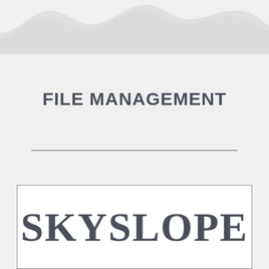[Figure (illustration): Mountain/wave silhouette graphic at the top of the page in light gray tones]
FILE MANAGEMENT
[Figure (logo): SkySlope logo in bold serif font inside a white rectangle with a border, showing the text SKYSLOPE]